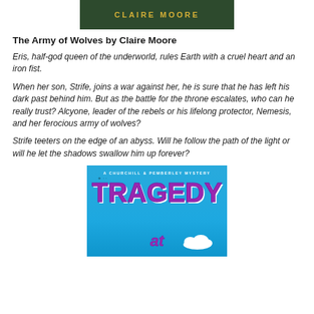[Figure (illustration): Book cover top portion showing 'CLAIRE MOORE' text in gold letters on dark green background]
The Army of Wolves by Claire Moore
Eris, half-god queen of the underworld, rules Earth with a cruel heart and an iron fist.
When her son, Strife, joins a war against her, he is sure that he has left his dark past behind him. But as the battle for the throne escalates, who can he really trust? Alcyone, leader of the rebels or his lifelong protector, Nemesis, and her ferocious army of wolves?
Strife teeters on the edge of an abyss. Will he follow the path of the light or will he let the shadows swallow him up forever?
[Figure (illustration): Book cover for 'Tragedy at' - A Churchill & Pemberley Mystery, showing title in large purple text on blue sky background with clouds]